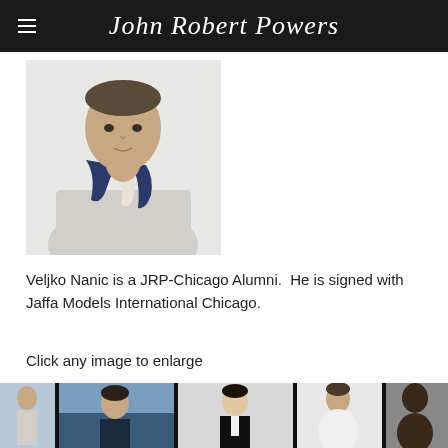John Robert Powers
[Figure (photo): Young man wearing a white/cream knit sweater and a dark navy striped scarf, photographed from the chest up against a light background]
Veljko Nanic is a JRP-Chicago Alumni.  He is signed with Jaffa Models International Chicago.
Click any image to enlarge
[Figure (photo): Gallery strip showing multiple male model photos side by side: man outdoors in blue, man in black suit, man in white top, shirtless dark-skinned man]